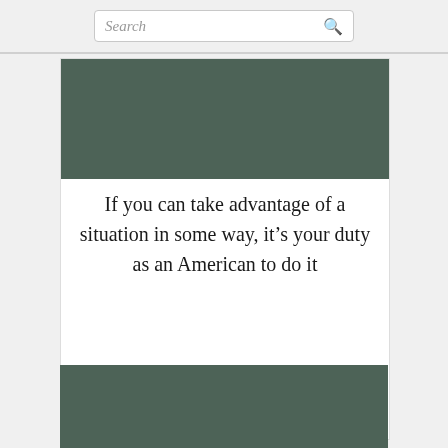Search
[Figure (illustration): Dark olive/teal green rectangular image block at top of quote card]
If you can take advantage of a situation in some way, it’s your duty as an American to do it
John Swartzwelder
PICTUREQUOTES.com
[Figure (illustration): Dark olive/teal green rectangular image block at bottom of page]